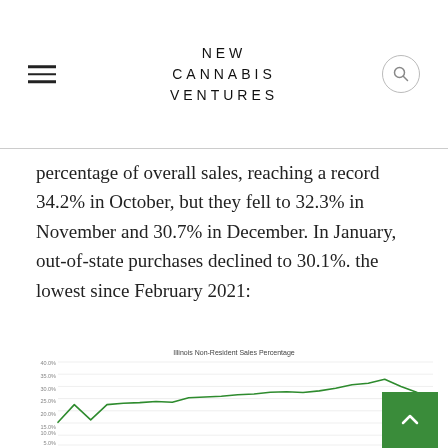NEW CANNABIS VENTURES
percentage of overall sales, reaching a record 34.2% in October, but they fell to 32.3% in November and 30.7% in December. In January, out-of-state purchases declined to 30.1%. the lowest since February 2021:
[Figure (line-chart): Illinois Non-Resident Sales Percentage]